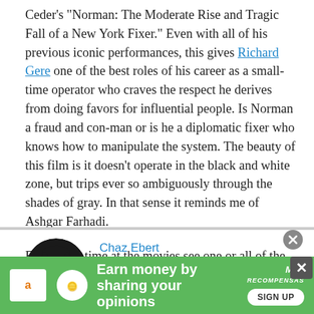Ceder's "Norman: The Moderate Rise and Tragic Fall of a New York Fixer." Even with all of his previous iconic performances, this gives Richard Gere one of the best roles of his career as a small-time operator who craves the respect he derives from doing favors for influential people. Is Norman a fraud and con-man or is he a diplomatic fixer who knows how to manipulate the system. The beauty of this film is it doesn't operate in the black and white zone, but trips ever so ambiguously through the shades of gray. In that sense it reminds me of Ashgar Farhadi.

For a good time at the movies see one or all of the films above. They are worth your while.
Chaz Ebert
Chaz is the CEO of several Ebert
[Figure (photo): Circular headshot photo of Chaz Ebert]
[Figure (infographic): Green advertisement banner: Earn money by sharing your opinions. Amazon logo, MuT Recompensas logo, Sign Up button. Two close/X buttons.]